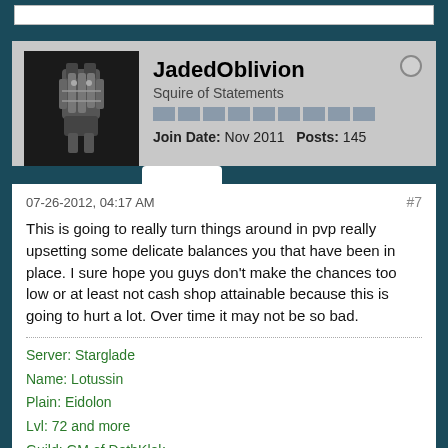JadedOblivion
Squire of Statements
Join Date: Nov 2011   Posts: 145
07-26-2012, 04:17 AM
#7
This is going to really turn things around in pvp really upsetting some delicate balances you that have been in place. I sure hope you guys don't make the chances too low or at least not cash shop attainable because this is going to hurt a lot. Over time it may not be so bad.
Server: Starglade
Name: Lotussin
Plain: Eidolon
Lvl: 72 and more
Guild: GM of DethKlok
Class:Rogue
Skill Tree: Shadow
Pet: Demon King Gen 2/5 +13